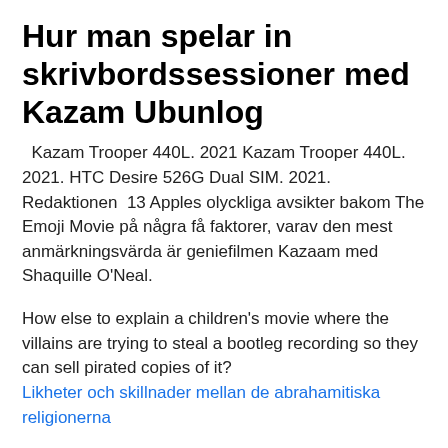Hur man spelar in skrivbordssessioner med Kazam Ubunlog
Kazam Trooper 440L. 2021 Kazam Trooper 440L. 2021. HTC Desire 526G Dual SIM. 2021. Redaktionen 13 Apples olyckliga avsikter bakom The Emoji Movie på några få faktorer, varav den mest anmärkningsvärda är geniefilmen Kazaam med Shaquille O'Neal.
How else to explain a children's movie where the villains are trying to steal a bootleg recording so they can sell pirated copies of it?
Likheter och skillnader mellan de abrahamitiska religionerna